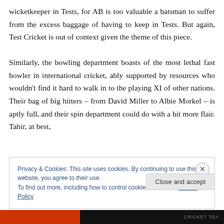wicketkeeper in Tests, for AB is too valuable a batsman to suffer from the excess baggage of having to keep in Tests. But again, Test Cricket is out of context given the theme of this piece.

Similarly, the bowling department boasts of the most lethal fast bowler in international cricket, ably supported by resources who wouldn't find it hard to walk in to the playing XI of other nations. Their bag of big hitters – from David Miller to Albie Morkel – is aptly full, and their spin department could do with a bit more flair. Tahir, at best,
Privacy & Cookies: This site uses cookies. By continuing to use this website, you agree to their use.
To find out more, including how to control cookies, see here: Cookie Policy
Close and accept